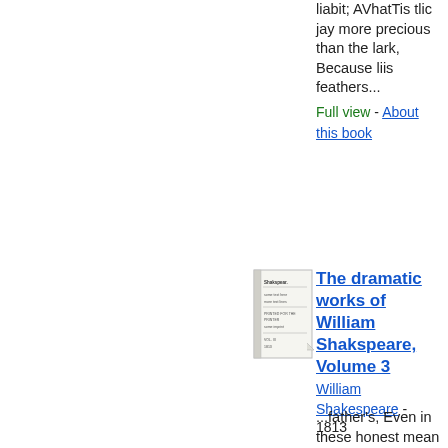liabit; AVhatTis tlic jay more precious than the lark, Because liis feathers...
Full view - About this book
[Figure (illustration): Small thumbnail image of a book cover for The dramatic works of William Shakspeare, Volume 3]
The dramatic works of William Shakspeare, Volume 3
William Shakespeare - 1813
...father's, Even in these honest mean habiliments; Our purses shall be prond, our garments poor : For 'tis the mind that makes the body rich ; And as the sun